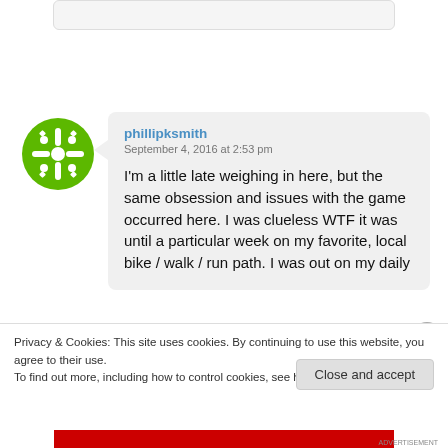[Figure (other): Top partial rounded box, light gray background]
[Figure (logo): Green circular avatar with crosshair/snowflake icon for user phillipksmith]
phillipksmith
September 4, 2016 at 2:53 pm
I'm a little late weighing in here, but the same obsession and issues with the game occurred here. I was clueless WTF it was until a particular week on my favorite, local bike / walk / run path. I was out on my daily
Privacy & Cookies: This site uses cookies. By continuing to use this website, you agree to their use.
To find out more, including how to control cookies, see here: Cookie Policy
Close and accept